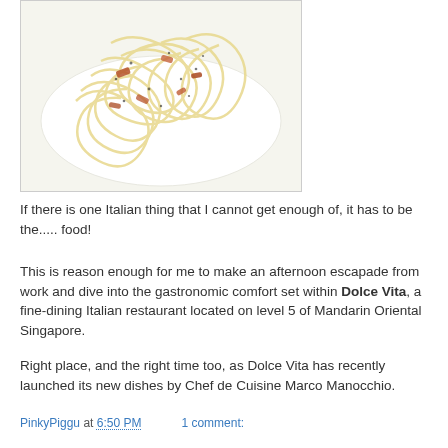[Figure (photo): A plate of spaghetti carbonara or similar pasta dish with bacon pieces and black pepper, served on a white plate, viewed from above at an angle.]
If there is one Italian thing that I cannot get enough of, it has to be the..... food!
This is reason enough for me to make an afternoon escapade from work and dive into the gastronomic comfort set within Dolce Vita, a fine-dining Italian restaurant located on level 5 of Mandarin Oriental Singapore.
Right place, and the right time too, as Dolce Vita has recently launched its new dishes by Chef de Cuisine Marco Manocchio.
PinkyPiggu at 6:50 PM   1 comment:
Share